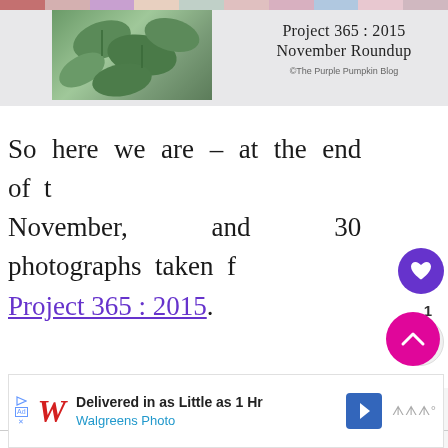[Figure (photo): Header image for 'Project 365 : 2015 November Roundup' blog post by The Purple Pumpkin Blog, showing a photo collage strip at top and a plant/ivy photo on the left side of the header area.]
So here we are – at the end of the November, and 30 photographs taken for Project 365 : 2015.
[Figure (screenshot): UI overlay elements: heart/like button (purple circle with heart icon), share button, count badge showing 1, 'WHAT'S NEXT' panel with thumbnail and text 'September Project...', and pink scroll-to-top button with up arrow.]
[Figure (photo): Advertisement banner for Walgreens Photo: 'Delivered in as Little as 1 Hr' with Walgreens logo, navigation arrow icon, and additional brand icon.]